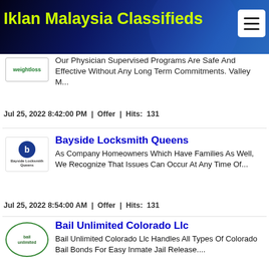Iklan Malaysia Classifieds
Our Physician Supervised Programs Are Safe And Effective Without Any Long Term Commitments. Valley M...
Jul 25, 2022 8:42:00 PM  |  Offer  |  Hits:  131
Bayside Locksmith Queens
As Company Homeowners Which Have Families As Well, We Recognize That Issues Can Occur At Any Time Of...
Jul 25, 2022 8:54:00 AM  |  Offer  |  Hits:  131
Bail Unlimited Colorado Llc
Bail Unlimited Colorado Llc Handles All Types Of Colorado Bail Bonds For Easy Inmate Jail Release....
Jul 25, 2022 7:41:00 AM  |  Offer  |  Hits:  84
Armour Business Farm Insurance Edmonton
We Believe Insurance Is A Noble Cause. Its About Protecting Your Future And Giving You The Piece Of ...
Jul 25, 2022 1:59:00 AM  |  Offer  |  Hits:  97
Chaga Mushroom Supplement